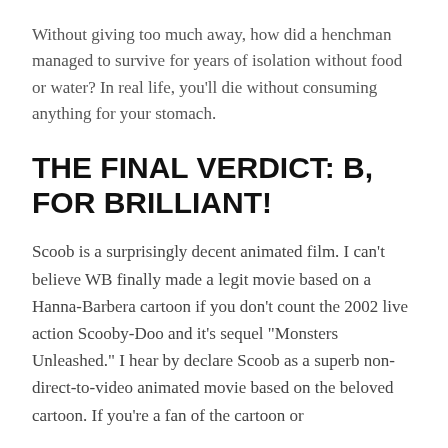Without giving too much away, how did a henchman managed to survive for years of isolation without food or water? In real life, you'll die without consuming anything for your stomach.
THE FINAL VERDICT: B, FOR BRILLIANT!
Scoob is a surprisingly decent animated film. I can't believe WB finally made a legit movie based on a Hanna-Barbera cartoon if you don't count the 2002 live action Scooby-Doo and it's sequel "Monsters Unleashed." I hear by declare Scoob as a superb non-direct-to-video animated movie based on the beloved cartoon. If you're a fan of the cartoon or